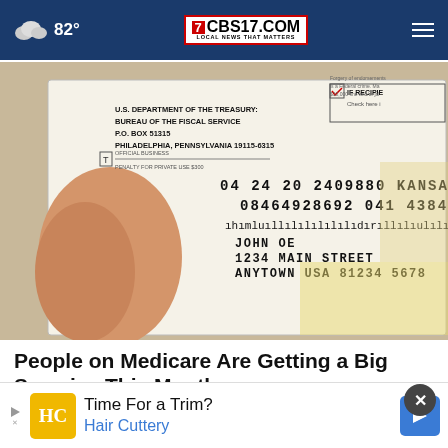82° CBS17.COM LOCAL NEWS THAT MATTERS
[Figure (photo): A hand holding a U.S. Treasury Department / Bureau of the Fiscal Service envelope showing a sample check addressed to John OE, 1234 Main Street, Anytown USA 81234 5678, with numbers 04 24 20 2409880 Kansas City, 08464928692 041 438494]
People on Medicare Are Getting a Big Surprise This Month
Every...
[Figure (screenshot): Advertisement banner: Time For a Trim? Hair Cuttery with HC logo and navigation arrow]